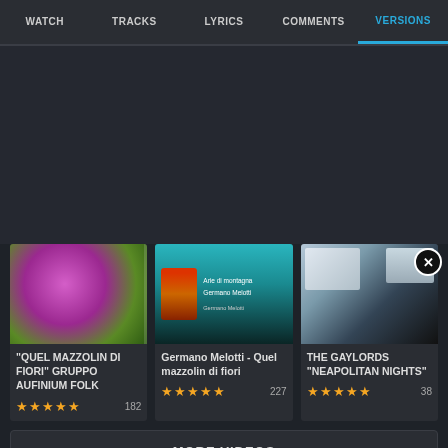WATCH | TRACKS | LYRICS | COMMENTS | VERSIONS
[Figure (screenshot): Video thumbnail 1: pink/magenta flowers with green background]
"QUEL MAZZOLIN DI FIORI" GRUPPO AUFINIUM FOLK
★★★★★  182
[Figure (screenshot): Video thumbnail 2: Germano Melotti accordion album art on teal background with text 'Arie di montagna']
Germano Melotti - Quel mazzolin di fiori
★★★★★  227
[Figure (screenshot): Video thumbnail 3: The Gaylords singer portrait on dark background]
THE GAYLORDS "NEAPOLITAN NIGHTS"
★★★★★  38
MORE VIDEOS
© SonicHits  Find Lyrics | About | Privacy